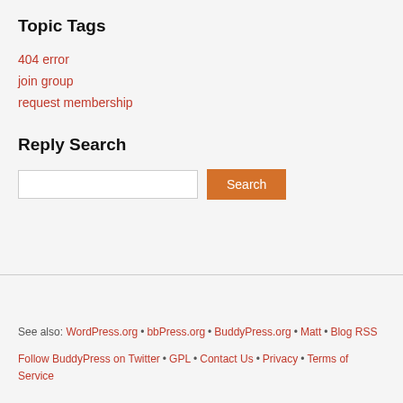Topic Tags
404 error
join group
request membership
Reply Search
[Figure (screenshot): Search input box and Search button]
See also: WordPress.org • bbPress.org • BuddyPress.org • Matt • Blog RSS
Follow BuddyPress on Twitter • GPL • Contact Us • Privacy • Terms of Service